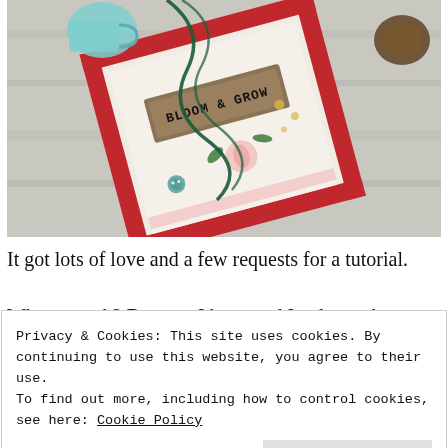[Figure (photo): Overhead photo of a decorative scrapbook or journal on a wooden surface. The book has floral and plaid patterned paper, a 'BLOOM & GROW' label, green twine, a teal mug charm, buttons and flower embellishments. A walnut sits at the upper right.]
It got lots of love and a few requests for a tutorial.
Why you ask? Because I haz good I only used one
Privacy & Cookies: This site uses cookies. By continuing to use this website, you agree to their use.
To find out more, including how to control cookies, see here: Cookie Policy
together to follow the instructions I'd seen other